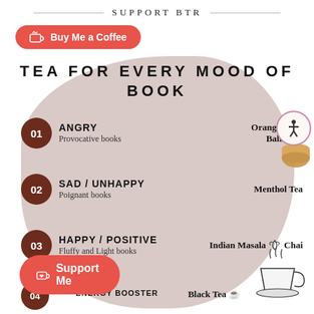SUPPORT BTR
[Figure (illustration): Buy Me a Coffee button - red pill-shaped button with coffee cup icon]
[Figure (infographic): Tea for Every Mood of Book infographic. Lists moods with numbered circles (01-04) and corresponding teas. 01 ANGRY Provocative books - Orange, Lemon Balm Tea; 02 SAD/UNHAPPY Poignant books - Menthol Tea; 03 HAPPY/POSITIVE Fluffy and Light books - Indian Masala Chai; 04 (partial) NEED ENERGY BOOSTER - Black Tea]
[Figure (illustration): Support Me button - red pill-shaped button with coffee cup icon]